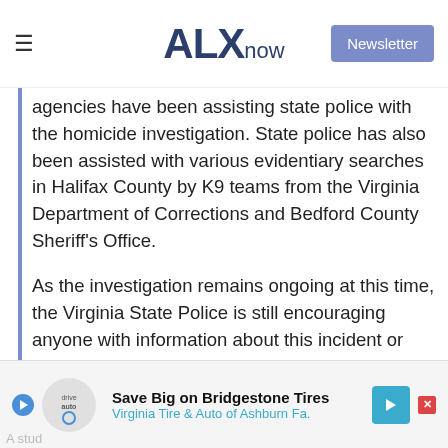ALXnow | Newsletter
agencies have been assisting state police with the homicide investigation. State police has also been assisted with various evidentiary searches in Halifax County by K9 teams from the Virginia Department of Corrections and Bedford County Sheriff's Office.
As the investigation remains ongoing at this time, the Virginia State Police is still encouraging anyone with information about this incident or individuals involved to contact us at 434-352-7128 or #77 on a cell phone or to email questions@vsp.virginia.gov. Anonymous calls are welcome.
[Figure (infographic): Advertisement: Save Big on Bridgestone Tires - Virginia Tire & Auto of Ashburn Fa.]